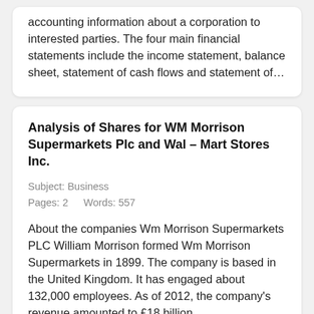accounting information about a corporation to interested parties. The four main financial statements include the income statement, balance sheet, statement of cash flows and statement of…
Analysis of Shares for WM Morrison Supermarkets Plc and Wal – Mart Stores Inc.
Subject: Business
Pages: 2    Words: 557
About the companies Wm Morrison Supermarkets PLC William Morrison formed Wm Morrison Supermarkets in 1899. The company is based in the United Kingdom. It has engaged about 132,000 employees. As of 2012, the company's revenue amounted to £18 billion…